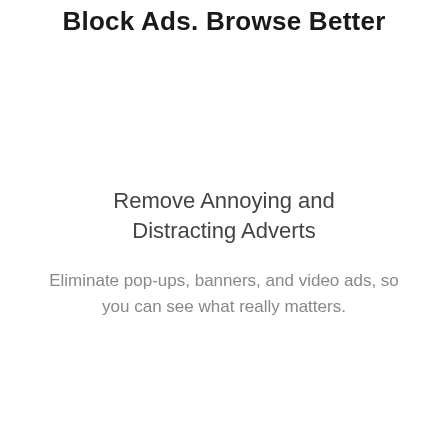Block Ads. Browse Better
Remove Annoying and Distracting Adverts
Eliminate pop-ups, banners, and video ads, so you can see what really matters.